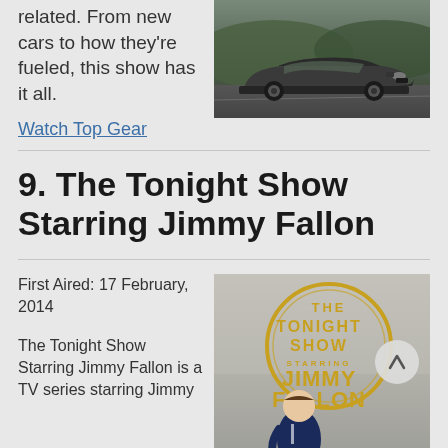related. From new cars to how they're fueled, this show has it all.
[Figure (photo): Dark grey Aston Martin sports car driving on a road with green hills in background]
Watch Top Gear
9. The Tonight Show Starring Jimmy Fallon
First Aired: 17 February, 2014
The Tonight Show Starring Jimmy Fallon is a TV series starring Jimmy
[Figure (photo): The Tonight Show Starring Jimmy Fallon promotional image with gold circular logo text and Jimmy Fallon seated]